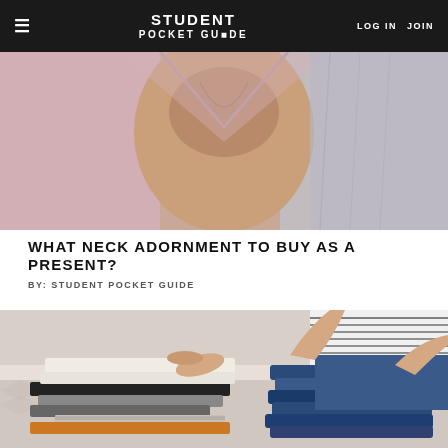STUDENT POCKET GUIDE | LOG IN | JOIN
[Figure (photo): Close-up photo of a person wearing a low-cut top with a chain necklace]
WHAT NECK ADORNMENT TO BUY AS A PRESENT?
BY: STUDENT POCKET GUIDE
[Figure (photo): Photo of a person sitting on a bed sorting and folding stacks of clothes including jeans, t-shirts and other garments]